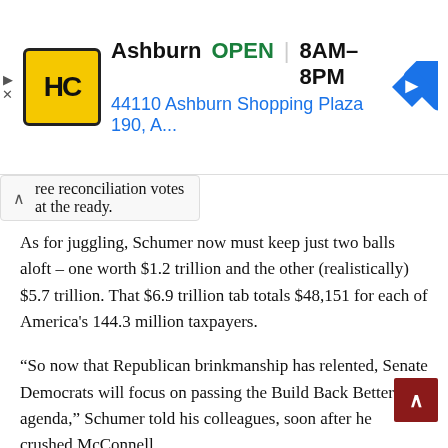[Figure (screenshot): Advertisement banner for HC (Hardware store) in Ashburn showing logo, OPEN status, hours 8AM-8PM, and address 44110 Ashburn Shopping Plaza 190, A... with navigation icon]
ree reconciliation votes at the ready.
As for juggling, Schumer now must keep just two balls aloft – one worth $1.2 trillion and the other (realistically) $5.7 trillion. That $6.9 trillion tab totals $48,151 for each of America's 144.3 million taxpayers.
“So now that Republican brinkmanship has relented, Senate Democrats will focus on passing the Build Back Better agenda,” Schumer told his colleagues, soon after he crushed McConnell.
Thanks to McConnell’s perfidy, the odds of